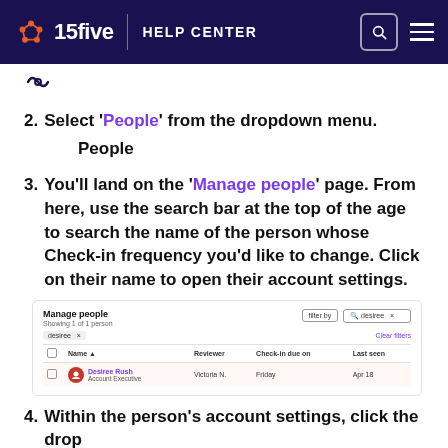15five HELP CENTER
[Figure (screenshot): Small icon at top of content area]
2. Select 'People' from the dropdown menu.
People
3. You'll land on the 'Manage people' page. From here, use the search bar at the top of the age to search the name of the person whose Check-in frequency you'd like to change. Click on their name to open their account settings.
[Figure (screenshot): Screenshot of Manage people page showing a table with Desiree Rush, Account Executive, Reviewer: Victoria N., Check-in due on: Friday, Last seen: Apr 18. Header shows Manage people, Showing 1 of 1 person. Filter controls visible with desiree search tag and Clear filters link.]
4. Within the person's account settings, click the drop